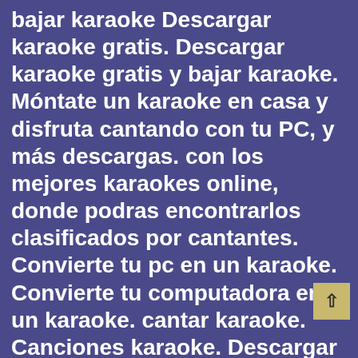bajar karaoke Descargar karaoke gratis. Descargar karaoke gratis y bajar karaoke. Móntate un karaoke en casa y disfruta cantando con tu PC, y más descargas. con los mejores karaokes online, donde podras encontrarlos clasificados por cantantes. Convierte tu pc en un karaoke. Convierte tu computadora en un karaoke. cantar karaoke. Canciones karaoke. Descargar Karaoke en español | Descargar Karaoke gratis Descargar Karaoke, descargar gratis Karaoke, descargar Karaoke gratis, bajar Karaoke gratis. Todo Karaoke : Instrumentales para descargar! Descargar Karaoke gratis Descargar Karaoke, descargar Karaoke gratis, descarga gratis Karaoke, descargar gratis Karaoke, bajar Karaoke. Canciones de Karaoke. Música y canciones de karaoke para descargar. Miles